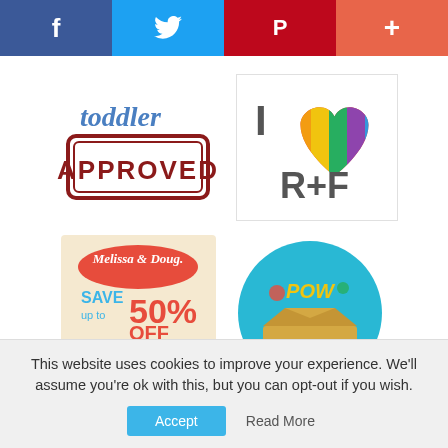[Figure (other): Social sharing bar with Facebook (blue), Twitter (light blue), Pinterest (red), and plus/more (coral) buttons]
[Figure (logo): Toddler Approved stamp logo - cursive 'toddler' text with red APPROVED stamp overlay]
[Figure (logo): I Love R+F logo - letter I, colorful striped heart, R+F text in gray]
[Figure (advertisement): Melissa & Doug advertisement - Save up to 50% OFF Select Toys, Shop Outlet]
[Figure (logo): Just Geek logo - circular teal badge with cartoon characters and box]
Advertise Here
This website uses cookies to improve your experience. We'll assume you're ok with this, but you can opt-out if you wish.
Accept
Read More